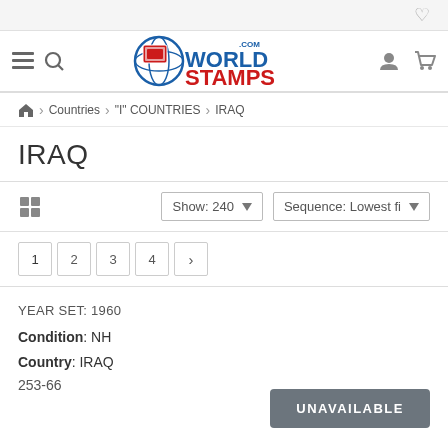WorldStamps.com — header navigation with logo
Countries > "I" COUNTRIES > IRAQ
IRAQ
Show: 240  Sequence: Lowest fi
1  2  3  4  >
YEAR SET: 1960
Condition: NH
Country: IRAQ
253-66
UNAVAILABLE